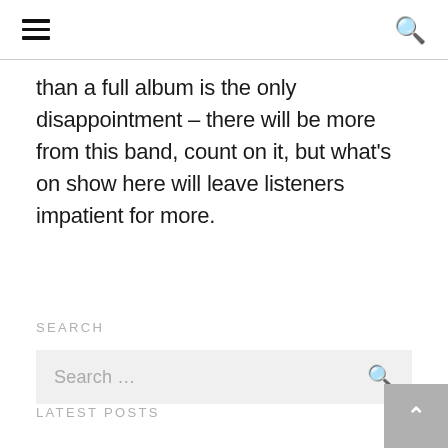[hamburger menu] [search icon]
than a full album is the only disappointment – there will be more from this band, count on it, but what's on show here will leave listeners impatient for more.
SEARCH
Search …
LATEST POSTS